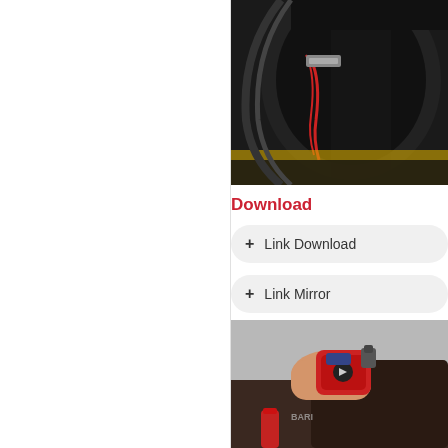[Figure (photo): Close-up of machinery or vehicle part with dark wheel/drum and red cables or components, partially cropped on the right side of the page]
Download
+ Link Download
+ Link Mirror
[Figure (photo): Person using a hair styling tool or clip device on dark hair, holding a red device. A bottle is visible in the foreground. Watermark text partially visible.]